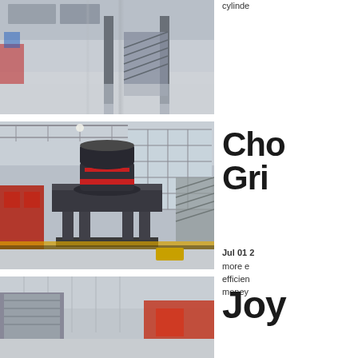[Figure (photo): Factory interior showing industrial space with metal staircases and columns, light gray floor]
cylinde...
[Figure (photo): Large cone crusher machine mounted on metal frame inside a factory with large windows]
Cho Gri
Jul 01 2... more efficient... efficiency... money...
[Figure (photo): Partial view of factory interior with corrugated walls and equipment visible]
Joy